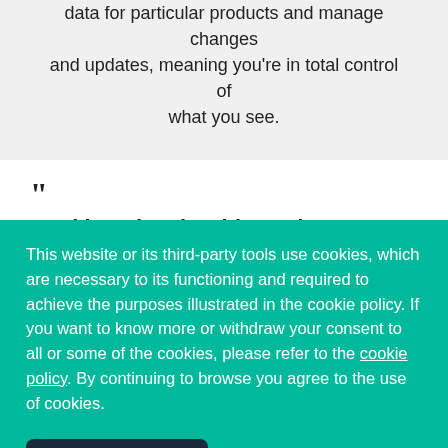data for particular products and manage changes and updates, meaning you're in total control of what you see.
“
Working closely with Frudus, we
This website or its third-party tools use cookies, which are necessary to its functioning and required to achieve the purposes illustrated in the cookie policy. If you want to know more or withdraw your consent to all or some of the cookies, please refer to the cookie policy. By continuing to browse you agree to the use of cookies.
I understand